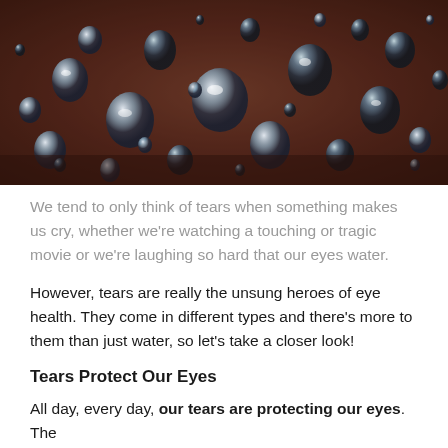[Figure (photo): Close-up photo of water droplets on a dark reddish-brown surface, showing numerous rounded water drops reflecting light]
We tend to only think of tears when something makes us cry, whether we're watching a touching or tragic movie or we're laughing so hard that our eyes water.
However, tears are really the unsung heroes of eye health. They come in different types and there's more to them than just water, so let's take a closer look!
Tears Protect Our Eyes
All day, every day, our tears are protecting our eyes. The